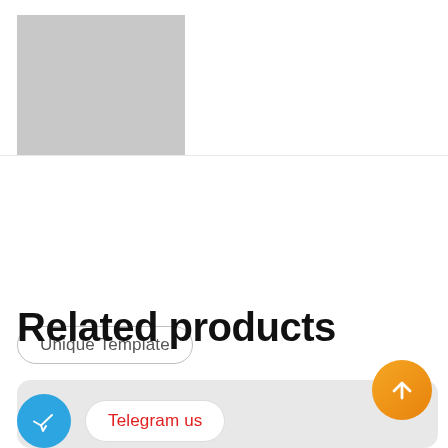[Figure (logo): Gray placeholder rectangle for website logo]
[Figure (other): Gray square icon and hamburger menu icon in top navigation bar]
Unique Template
Related products
[Figure (other): Orange circular scroll-to-top button with upward arrow]
[Figure (other): Blue Telegram icon circle with paper plane]
Telegram us